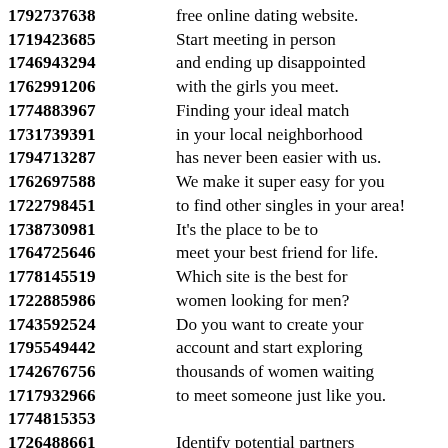1792737638 free online dating website. 1719423685 Start meeting in person 1746943294 and ending up disappointed 1762991206 with the girls you meet. 1774883967 Finding your ideal match 1731739391 in your local neighborhood 1794713287 has never been easier with us. 1762697588 We make it super easy for you 1722798451 to find other singles in your area! 1738730981 It's the place to be to 1764725646 meet your best friend for life. 1778145519 Which site is the best for 1722885986 women looking for men? 1743592524 Do you want to create your 1795549442 account and start exploring 1742676756 thousands of women waiting 1717932966 to meet someone just like you. 1774815353 1726488661 Identify potential partners 1758403874 system based on the experiences 1738840885 depending on the results of 1754686877 preferences and needs 1722289272 that everyone has provided. 1710246773 Our website opens in a new 1713768657 opportunities where there are 1737318788 ...